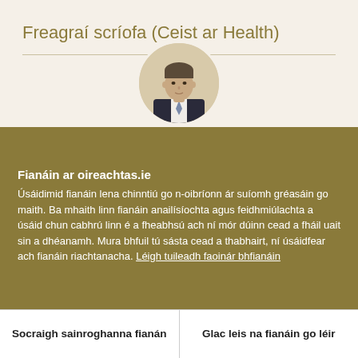Freagraí scríofa (Ceist ar Health)
[Figure (photo): Circular portrait photo of a man in a dark suit and tie against a light background]
Fianáin ar oireachtas.ie
Úsáidimid fianáin lena chinntiú go n-oibríonn ár suíomh gréasáin go maith. Ba mhaith linn fianáin anailísíochta agus feidhmiúlachta a úsáid chun cabhrú linn é a fheabhsú ach ní mór dúinn cead a fháil uait sin a dhéanamh. Mura bhfuil tú sásta cead a thabhairt, ní úsáidfear ach fianáin riachtanacha. Léigh tuileadh faoinár bhfianáin
Socraigh sainroghanna fianán
Glac leis na fianáin go léir